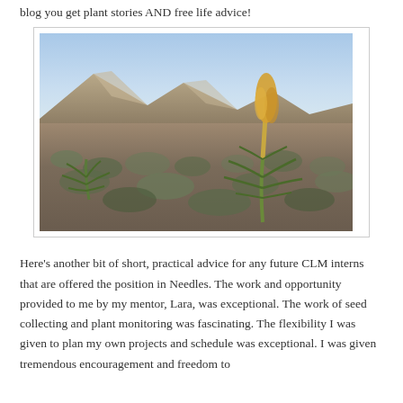blog you get plant stories AND free life advice!
[Figure (photo): Desert landscape photograph showing yucca plants in bloom with a tall flowering stalk, surrounded by sagebrush scrubland with mountains in the background under a blue sky.]
Here’s another bit of short, practical advice for any future CLM interns that are offered the position in Needles. The work and opportunity provided to me by my mentor, Lara, was exceptional. The work of seed collecting and plant monitoring was fascinating. The flexibility I was given to plan my own projects and schedule was exceptional. I was given tremendous encouragement and freedom to